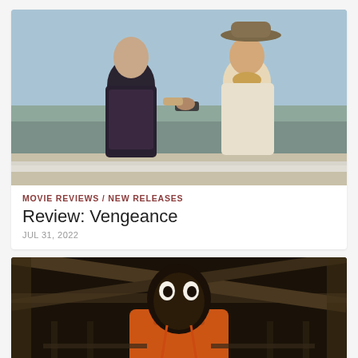[Figure (photo): Movie still from Vengeance showing two men outdoors in a desert setting, one in dark clothing and one in a cowboy hat and western outfit]
MOVIE REVIEWS / NEW RELEASES
Review: Vengeance
JUL 31, 2022
[Figure (photo): Movie still showing a man in an orange hoodie looking upward with a worried expression, inside a dark barn or building structure]